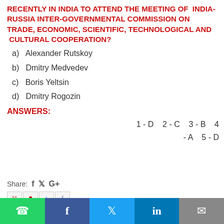RECENTLY IN INDIA TO ATTEND THE MEETING OF INDIA-RUSSIA INTER-GOVERNMENTAL COMMISSION ON TRADE, ECONOMIC, SCIENTIFIC, TECHNOLOGICAL AND CULTURAL COOPERATION?
a)  Alexander Rutskoy
b)  Dmitry Medvedev
c)  Boris Yeltsin
d)  Dmitry Rogozin
ANSWERS:
1 - D   2 - C   3 - B   4 - A   5 - D